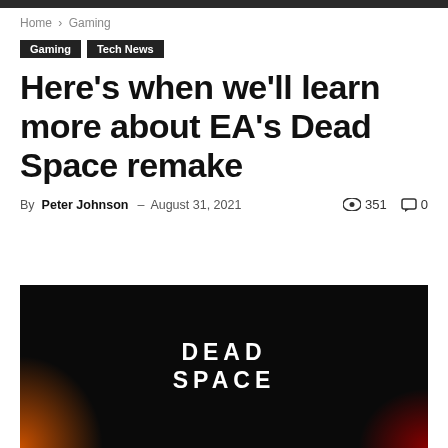Home › Gaming
Gaming
Tech News
Here's when we'll learn more about EA's Dead Space remake
By Peter Johnson - August 31, 2021  351  0
[Figure (photo): Dead Space remake logo on dark black background with orange glow at bottom left]